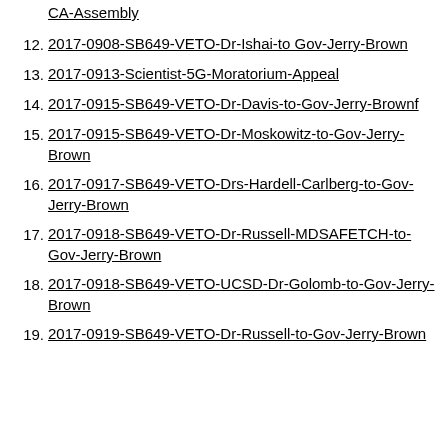CA-Assembly
12. 2017-0908-SB649-VETO-Dr-Ishai-to Gov-Jerry-Brown
13. 2017-0913-Scientist-5G-Moratorium-Appeal
14. 2017-0915-SB649-VETO-Dr-Davis-to-Gov-Jerry-Brownf
15. 2017-0915-SB649-VETO-Dr-Moskowitz-to-Gov-Jerry-Brown
16. 2017-0917-SB649-VETO-Drs-Hardell-Carlberg-to-Gov-Jerry-Brown
17. 2017-0918-SB649-VETO-Dr-Russell-MDSAFETCH-to-Gov-Jerry-Brown
18. 2017-0918-SB649-VETO-UCSD-Dr-Golomb-to-Gov-Jerry-Brown
19. 2017-0919-SB649-VETO-Dr-Russell-to-Gov-Jerry-Brown